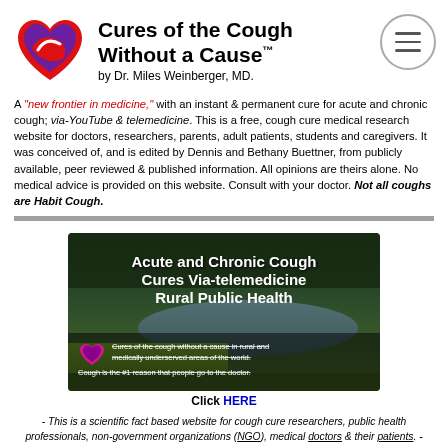[Figure (logo): Red heart logo with purple interior and stylized red ribbon/arrow shape]
Cures of the Cough Without a Cause™ by Dr. Miles Weinberger, MD.
A "new frontier in medicine," with an instant & permanent cure for acute and chronic cough; via-YouTube & telemedicine. This is a free, cough cure medical research website for doctors, researchers, parents, adult patients, students and caregivers. It was conceived of, and is edited by Dennis and Bethany Buettner, from publicly available, peer reviewed & published information. All opinions are theirs alone. No medical advice is provided on this website. Consult with your doctor. Not all coughs are Habit Cough.
[Figure (screenshot): Banner image showing forest/lake landscape with text: Acute and Chronic Cough Cures Via-telemedicine Rural Public Health. Cures of the cough without a cause in rural and medically underserved areas of the world. Cough is the #1 reason that people go to the doctor.]
Click HERE
- This is a scientific fact based website for cough cure researchers, public health professionals, non-government organizations (NGO), medical doctors & their patients. -